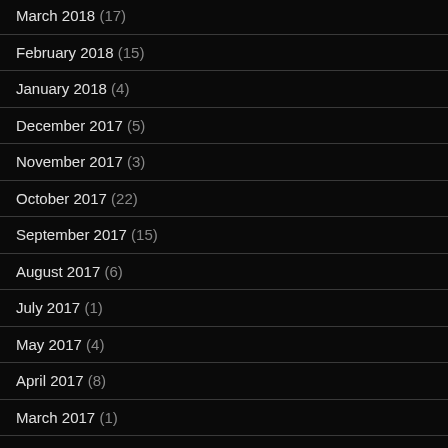March 2018 (17)
February 2018 (15)
January 2018 (4)
December 2017 (5)
November 2017 (3)
October 2017 (22)
September 2017 (15)
August 2017 (6)
July 2017 (1)
May 2017 (4)
April 2017 (8)
March 2017 (1)
February 2017 (1)